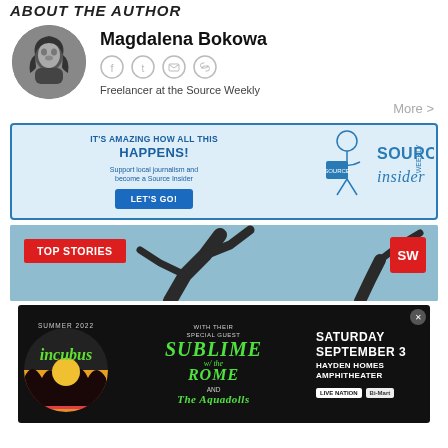ABOUT THE AUTHOR
Magdalena Bokowa
Freelancer at the Source Weekly
More >
[Figure (infographic): Source Insider promotional banner: IT'S AMAZING HOW ALL THIS HAPPENS! Support local journalism and become a Source Insider. LET'S GO! button. Illustration of person reading Source Weekly with 'SOURCE WEEKLY insider' text.]
[Figure (photo): Top Stories section banner with red label 'TOP STORIES' on left, SW red logo on right, background showing tree branches against blue sky.]
[Figure (photo): Incubus concert advertisement: Summer 2022, Incubus with special guest Sublime with Rome and The Aquadolls. Saturday September 3, Hayden Homes Amphitheater. Live Nation / Bi-Mart Cares logos.]